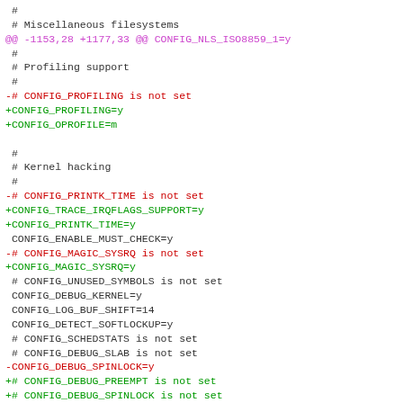diff --git code block showing kernel config changes including Miscellaneous filesystems, Profiling support, Kernel hacking sections with added/removed CONFIG entries
[Figure (screenshot): Unified diff output of a Linux kernel .config file showing changes to profiling and kernel hacking configuration options. Red lines show removed entries, green lines show added entries, neutral lines show unchanged context.]